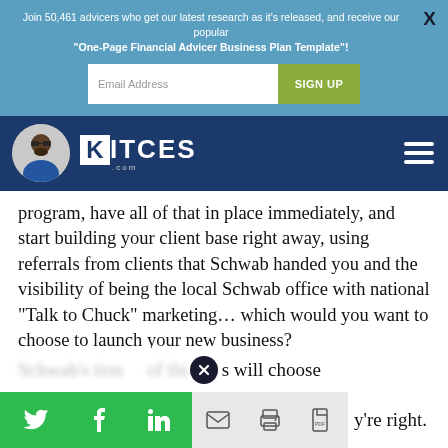Join 50,461 advicers who get our latest research as it's released, and receive our popular "One-Page Financial Advicer Business Plan Template"!
[Figure (logo): Kitces.com logo with avatar icon and navigation hamburger menu on dark blue background]
program, have all of that in place immediately, and start building your client base right away, using referrals from clients that Schwab handed you and the visibility of being the local Schwab office with national "Talk to Chuck" marketing... which would you want to choose to launch your new business?
s will choose
y're right.